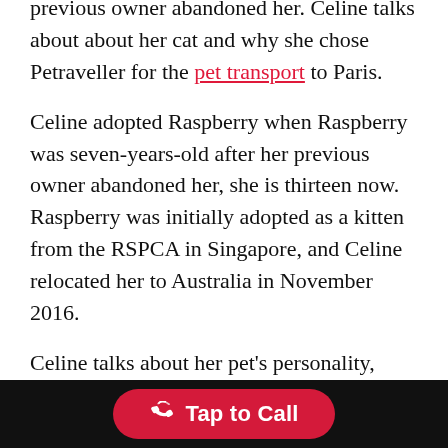Celine adopted Bombshell (formerly, Raspberry) after her previous owner abandoned her. Celine talks about about her cat and why she chose Petraveller for the pet transport to Paris.
Celine adopted Raspberry when Raspberry was seven-years-old after her previous owner abandoned her, she is thirteen now. Raspberry was initially adopted as a kitten from the RSPCA in Singapore, and Celine relocated her to Australia in November 2016.
Celine talks about her pet’s personality, “Raspberry is very friendly with humans, even people she has never met before. She is very cuddly, has never scratched anyone intentionally, and does not bite except a gentle squeeze when playing. Raspberry is very territorial with other animals. She is generally confident in new